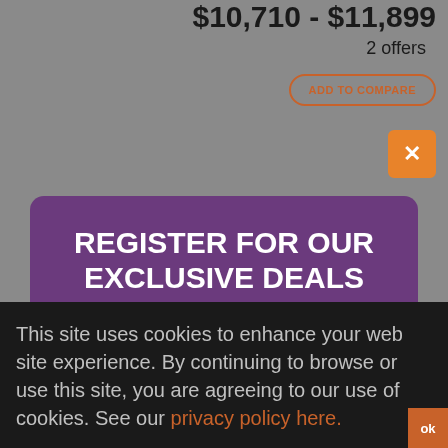$10,710 - $11,899
2 offers
ADD TO COMPARE
REGISTER FOR OUR EXCLUSIVE DEALS
Enter your email below
Email
Sign up
No, I don't want it
This site uses cookies to enhance your web site experience. By continuing to browse or use this site, you are agreeing to our use of cookies. See our privacy policy here.